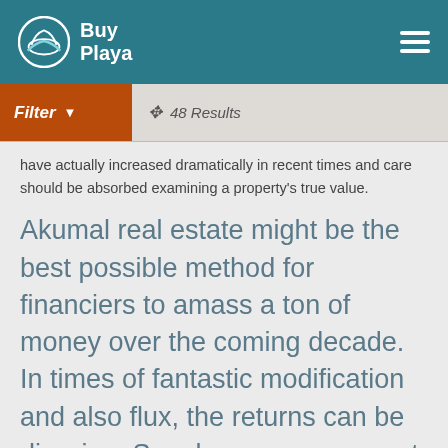BuyPlaya
Filter  48 Results
have actually increased dramatically in recent times and care should be absorbed examining a property's true value.
Akumal real estate might be the best possible method for financiers to amass a ton of money over the coming decade. In times of fantastic modification and also flux, the returns can be dizzying. Supply, you see, cannot be turned on like a touch. It's finite when it comes to land.
Beachfront "they ain't making more of it". When it comes to